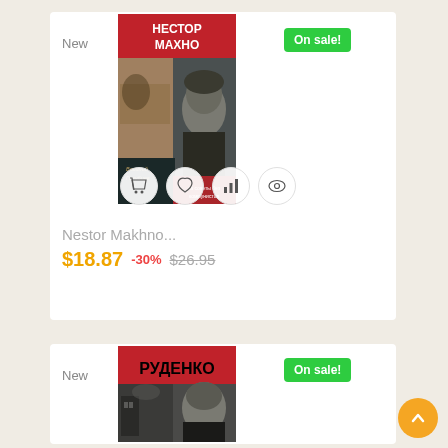New
On sale!
[Figure (illustration): Book cover: НЕСТОР МАХНО (Nestor Makhno) - black and red cover with portrait photo of Nestor Makhno and text in Russian]
Nestor Makhno...
$18.87  -30%  $26.95
New
On sale!
[Figure (illustration): Book cover: РУДЕНКО (Rudenko) - red and black cover with portrait photo of Rudenko]